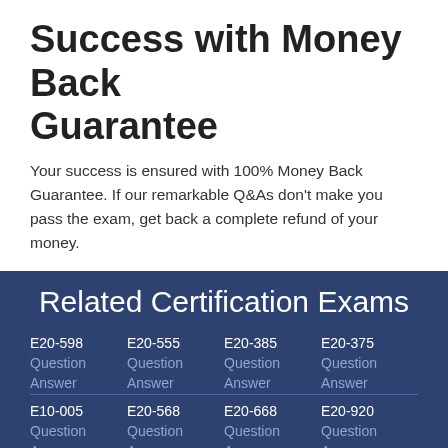Success with Money Back Guarantee
Your success is ensured with 100% Money Back Guarantee. If our remarkable Q&As don't make you pass the exam, get back a complete refund of your money.
Related Certification Exams
| Col1 | Col2 | Col3 | Col4 |
| --- | --- | --- | --- |
| E20-598 | E20-555 | E20-385 | E20-375 |
| Question | Question | Question | Question |
| Answer | Answer | Answer | Answer |
| E10-005 | E20-568 | E20-668 | E20-920 |
| Question | Question | Question | Question |
| Answer | Answer | Answer | Answer |
| DEA-7TT2 | DES-6131 | DES-6231 | DEA-5TT1 |